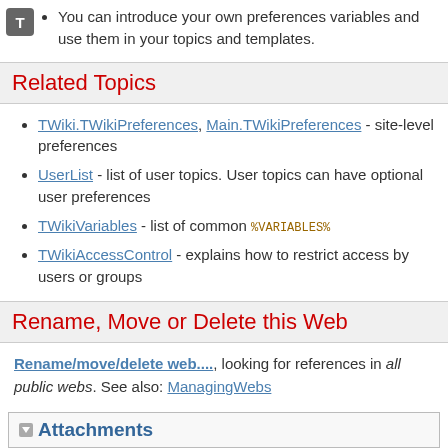You can introduce your own preferences variables and use them in your topics and templates.
Related Topics
TWiki.TWikiPreferences, Main.TWikiPreferences - site-level preferences
UserList - list of user topics. User topics can have optional user preferences
TWikiVariables - list of common %VARIABLES%
TWikiAccessControl - explains how to restrict access by users or groups
Rename, Move or Delete this Web
Rename/move/delete web...., looking for references in all public webs. See also: ManagingWebs
Attachments
| I | Attachment | History | Action | Size | Date |
| --- | --- | --- | --- | --- | --- |